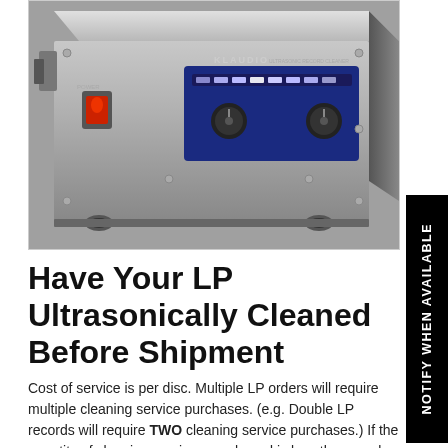[Figure (photo): Photo of a Klaudio ultrasonic record cleaner device, silver/grey metal box with blue LED panel and control knobs, red power switch on the left side, rubber feet on the bottom]
Have Your LP Ultrasonically Cleaned Before Shipment
Cost of service is per disc. Multiple LP orders will require multiple cleaning service purchases. (e.g. Double LP records will require TWO cleaning service purchases.) If the quantity of cleaning services purchased is less than number of LPs on the order, please notate in the notes section which LPs are